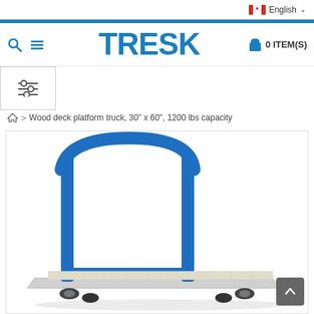English
TRESK
0 ITEM(S)
Wood deck platform truck, 30" x 60", 1200 lbs capacity
[Figure (photo): Blue steel platform truck with U-shaped push handle and flat wooden deck, photographed against white background]